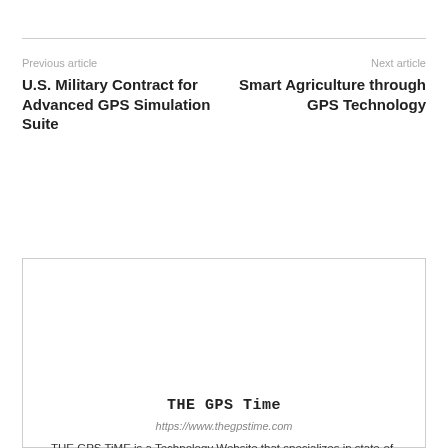Previous article
Next article
U.S. Military Contract for Advanced GPS Simulation Suite
Smart Agriculture through GPS Technology
THE GPS Time
https://www.thegpstime.com
THE GPS TiME is a Technology Website that specializes in state-of-